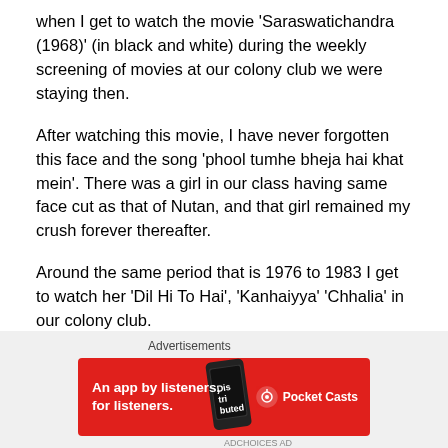when I get to watch the movie ‘Saraswatichandra (1968)’ (in black and white) during the weekly screening of movies at our colony club we were staying then.
After watching this movie, I have never forgotten this face and the song ‘phool tumhe bheja hai khat mein’. There was a girl in our class having same face cut as that of Nutan, and that girl remained my crush forever thereafter.
Around the same period that is 1976 to 1983 I get to watch her ‘Dil Hi To Hai’, ‘Kanhaiyya’ ‘Chhalia’ in our colony club.
I think I had also watched ‘Anuraag’ and ‘Yaadgaar’ with my parents.
Advertisements
[Figure (other): Advertisement banner for Pocket Casts app: red background with text 'An app by listeners, for listeners.' and Pocket Casts logo, with a phone image showing 'Distributed' on screen.]